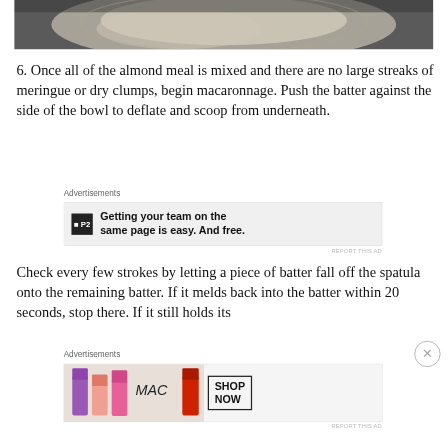[Figure (photo): Top portion of a photo showing almond meal/flour in a bowl, close-up overhead view]
6. Once all of the almond meal is mixed and there are no large streaks of meringue or dry clumps, begin macaronnage. Push the batter against the side of the bowl to deflate and scoop from underneath.
[Figure (other): Advertisement: P2 app - Getting your team on the same page is easy. And free.]
Check every few strokes by letting a piece of batter fall off the spatula onto the remaining batter. If it melds back into the batter within 20 seconds, stop there. If it still holds its
[Figure (other): Advertisement: MAC cosmetics - Shop Now, showing lipsticks]